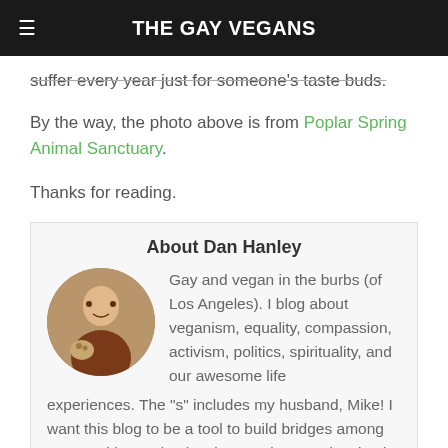THE GAY VEGANS
suffer every year just for someone's taste buds.
By the way, the photo above is from Poplar Spring Animal Sanctuary.
Thanks for reading.
About Dan Hanley
Gay and vegan in the burbs (of Los Angeles). I blog about veganism, equality, compassion, activism, politics, spirituality, and our awesome life experiences. The "s" includes my husband, Mike! I want this blog to be a tool to build bridges among communities and to inspire people to get involved and